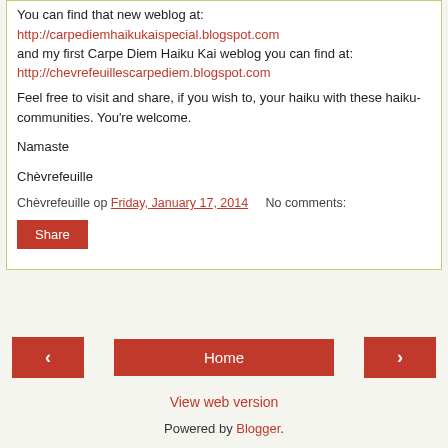You can find that new weblog at:
http://carpediemhaikukaispecial.blogspot.com
and my first Carpe Diem Haiku Kai weblog you can find at:
http://chevrefeuillescarpediem.blogspot.com
Feel free to visit and share, if you wish to, your haiku with these haiku-communities. You're welcome.
Namaste
Chèvrefeuille
Chèvrefeuille op Friday, January 17, 2014   No comments:
Share
‹  Home  ›  View web version  Powered by Blogger.